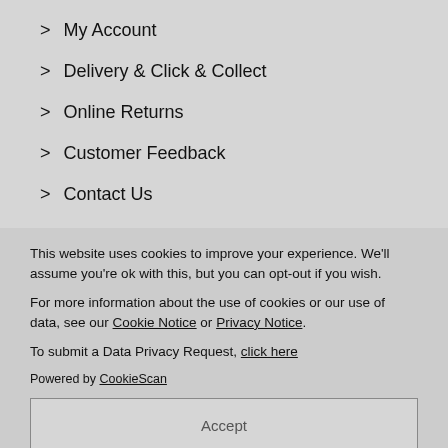> My Account
> Delivery & Click & Collect
> Online Returns
> Customer Feedback
> Contact Us
This website uses cookies to improve your experience. We'll assume you're ok with this, but you can opt-out if you wish.
For more information about the use of cookies or our use of data, see our Cookie Notice or Privacy Notice.
To submit a Data Privacy Request, click here
Powered by CookieScan
Accept
Or Select Your Own Preferences